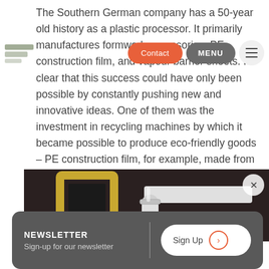The Southern German company has a 50-year old history as a plastic processor. It primarily manufactures formwork accessories, PE construction film, and vapour barrier sheets. It's clear that this success could have only been possible by constantly pushing new and innovative ideas. One of them was the investment in recycling machines by which it became possible to produce eco-friendly goods - PE construction film, for example, made from PE regrind.
[Figure (photo): Close-up photograph of industrial pipes/fittings including a white elbow pipe fitting and gold-colored square frame element, on a dark background]
NEWSLETTER
Sign-up for our newsletter